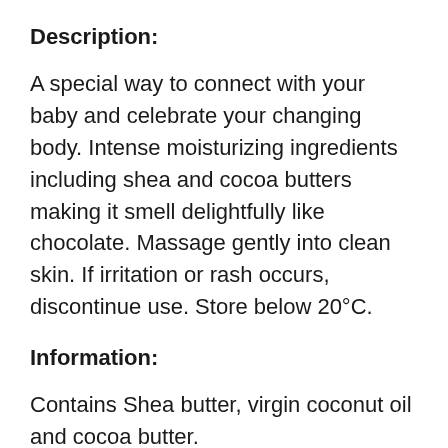Description:
A special way to connect with your baby and celebrate your changing body. Intense moisturizing ingredients including shea and cocoa butters making it smell delightfully like chocolate. Massage gently into clean skin. If irritation or rash occurs, discontinue use. Store below 20°C.
Information:
Contains Shea butter, virgin coconut oil and cocoa butter.
Cocoa butter provides a natural chocolate scent.
Keeps skin moisturized and supple during pregnancy.
Makes a great body butter anytime!
Keep cool. This product is whipped and if allowed to